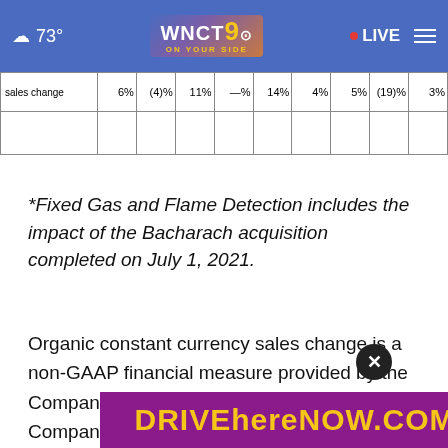73° WNCT 9 ON YOUR SIDE • LIVE
| sales change | 6% | (4)% | 11% | —% | 14% | 4% | 5% | (19)% | 3% |
*Fixed Gas and Flame Detection includes the impact of the Bacharach acquisition completed on July 1, 2021.
Organic constant currency sales change is a non-GAAP financial measure provided by the Company to give a better understanding of the Company's underlying business performance. Organic constant currency sales change is calculated by deducting the percentage impact
[Figure (other): DRIVEhereNOW.COM advertisement banner in yellow text on purple background]